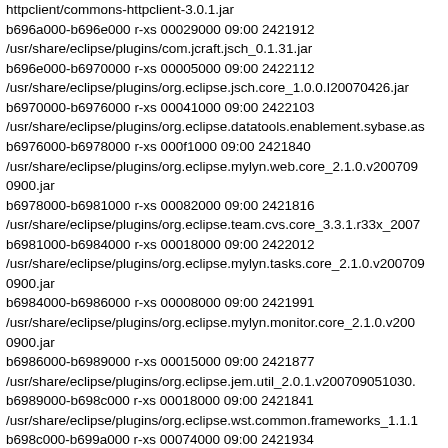httpclient/commons-httpclient-3.0.1.jar
b696a000-b696e000 r-xs 00029000 09:00 2421912
/usr/share/eclipse/plugins/com.jcraft.jsch_0.1.31.jar
b696e000-b6970000 r-xs 00005000 09:00 2422112
/usr/share/eclipse/plugins/org.eclipse.jsch.core_1.0.0.I20070426.jar
b6970000-b6976000 r-xs 00041000 09:00 2422103
/usr/share/eclipse/plugins/org.eclipse.datatools.enablement.sybase.as
b6976000-b6978000 r-xs 000f1000 09:00 2421840
/usr/share/eclipse/plugins/org.eclipse.mylyn.web.core_2.1.0.v200709
0900.jar
b6978000-b6981000 r-xs 00082000 09:00 2421816
/usr/share/eclipse/plugins/org.eclipse.team.cvs.core_3.3.1.r33x_2007
b6981000-b6984000 r-xs 00018000 09:00 2422012
/usr/share/eclipse/plugins/org.eclipse.mylyn.tasks.core_2.1.0.v200709
0900.jar
b6984000-b6986000 r-xs 00008000 09:00 2421991
/usr/share/eclipse/plugins/org.eclipse.mylyn.monitor.core_2.1.0.v200
0900.jar
b6986000-b6989000 r-xs 00015000 09:00 2421877
/usr/share/eclipse/plugins/org.eclipse.jem.util_2.0.1.v200709051030.
b6989000-b698c000 r-xs 00018000 09:00 2421841
/usr/share/eclipse/plugins/org.eclipse.wst.common.frameworks_1.1.1
b698c000-b699a000 r-xs 00074000 09:00 2421934
/usr/share/eclipse/plugins/org.eclipse.jst.jsf.core_1.0.1.v20070921.ja
b699a000-b69db000 r-xs 00362000 09:00 2422208
/usr/share/eclipse/plugins/org.eclipse.jst.server.tomcat.core_1.2.1.r33x_200703013